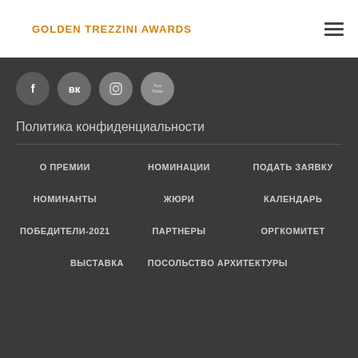GOLDEN TREZZINI AWARDS
[Figure (infographic): Four circular social media icons: Facebook (f), VKontakte (VK), Instagram (camera), YouTube (You Tube)]
Политика конфиденциальности
О ПРЕМИИ
НОМИНАЦИИ
ПОДАТЬ ЗАЯВКУ
НОМИНАНТЫ
ЖЮРИ
КАЛЕНДАРЬ
ПОБЕДИТЕЛИ-2021
ПАРТНЕРЫ
ОРГКОМИТЕТ
ВЫСТАВКА
ПОСОЛЬСТВО АРХИТЕКТУРЫ